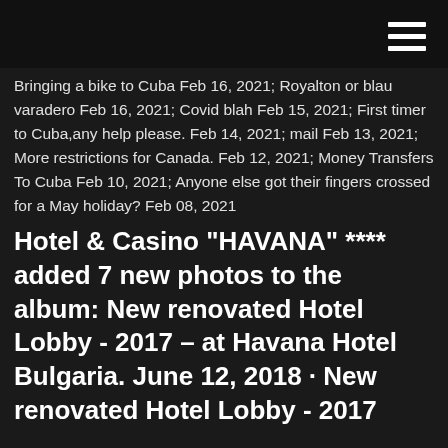Bringing a bike to Cuba Feb 16, 2021; Royalton or blau varadero Feb 16, 2021; Covid blah Feb 15, 2021; First timer to Cuba,any help please. Feb 14, 2021; mail Feb 13, 2021; More restrictions for Canada. Feb 12, 2021; Money Transfers To Cuba Feb 10, 2021; Anyone else got their fingers crossed for a May holiday? Feb 08, 2021
Hotel & Casino "HAVANA" **** added 7 new photos to the album: New renovated Hotel Lobby - 2017 – at Havana Hotel Bulgaria. June 12, 2018 · New renovated Hotel Lobby - 2017